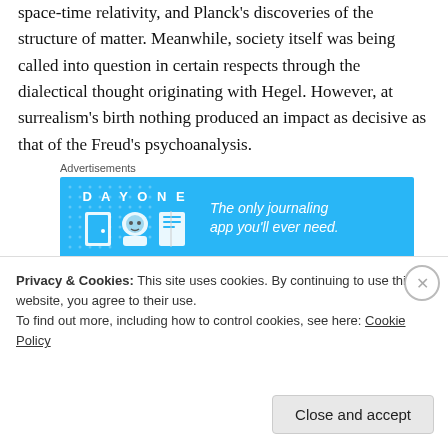space-time relativity, and Planck's discoveries of the structure of matter. Meanwhile, society itself was being called into question in certain respects through the dialectical thought originating with Hegel. However, at surrealism's birth nothing produced an impact as decisive as that of the Freud's psychoanalysis.
[Figure (other): Advertisement banner for Day One journaling app on a blue background with app icons and tagline 'The only journaling app you'll ever need.']
2. Freud's discoveries of the role of the unconscious,
Privacy & Cookies: This site uses cookies. By continuing to use this website, you agree to their use. To find out more, including how to control cookies, see here: Cookie Policy
Close and accept